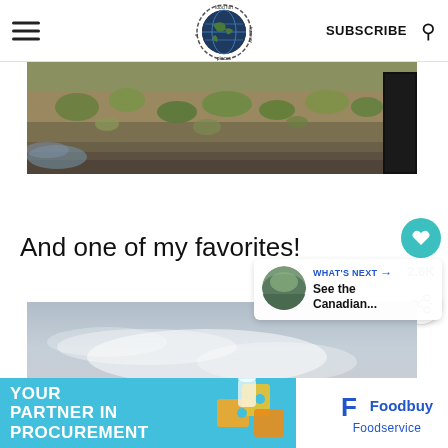food fun & faraway places — SUBSCRIBE
[Figure (photo): Landscape photo of rocky hillside with scrub brush and a train on the right edge]
And one of my favorites!
[Figure (photo): Aerial or wide landscape photo showing misty blue-grey sky and terrain]
[Figure (infographic): What's Next callout with thumbnail: See the Canadian...]
[Figure (photo): Advertisement banner: YOUR PARTNER IN PROCUREMENT with Foodbuy Foodservice logo]